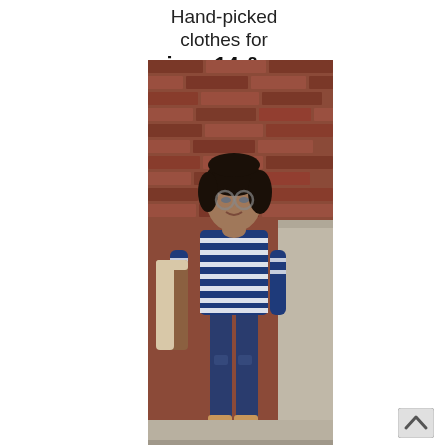Hand-picked clothes for sizes 14 & up
[Figure (photo): A plus-size woman standing against a red brick wall, wearing a navy and white striped top, distressed blue skinny jeans, tan heeled booties, and holding a brown shearling jacket. She has dark wavy hair and glasses.]